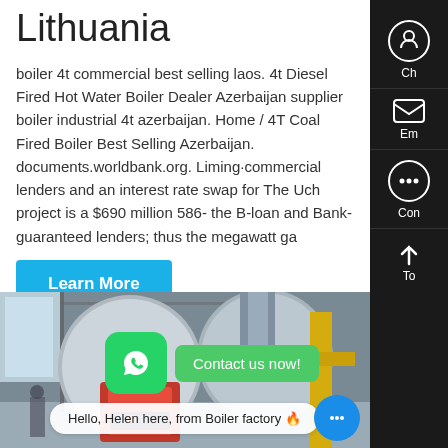Lithuania
boiler 4t commercial best selling laos. 4t Diesel Fired Hot Water Boiler Dealer Azerbaijan supplier boiler industrial 4t azerbaijan. Home / 4T Coal Fired Boiler Best Selling Azerbaijan. documents.worldbank.org. Liming·commercial lenders and an interest rate swap for The Uch project is a $690 million 586- the B-loan and Bank-guaranteed lenders; thus the megawatt ga
Learn More
[Figure (photo): Industrial boiler equipment in a factory setting, showing large cylindrical boiler tanks with red and silver coloring, pipes and yellow painted equipment visible.]
Contact us now!
Hello, Helen here, from Boiler factory 🔥